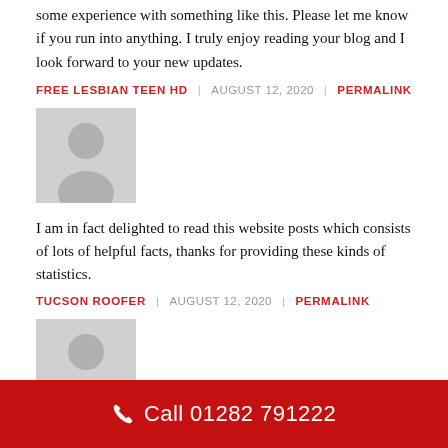some experience with something like this. Please let me know if you run into anything. I truly enjoy reading your blog and I look forward to your new updates.
FREE LESBIAN TEEN HD | AUGUST 12, 2020 | PERMALINK
[Figure (illustration): Gray default avatar silhouette icon]
I am in fact delighted to read this website posts which consists of lots of helpful facts, thanks for providing these kinds of statistics.
TUCSON ROOFER | AUGUST 12, 2020 | PERMALINK
[Figure (illustration): Gray default avatar silhouette icon]
Hello, after reading this amazing article i am too cheerful to share my knowledge here with colleagues.
STREAMING JAV ONLINE FREE - JAVPLAY | AUGUST 12, 2020 | PERMALINK
Call 01282 791222